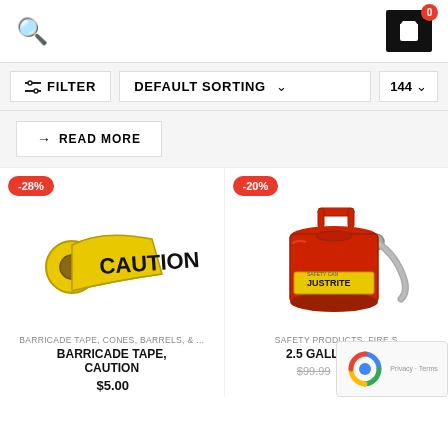[Figure (screenshot): E-commerce product listing page with search icon, cart icon, filter/sort bar, read more button, and two product cards showing Barricade Tape, Caution (-28% discount) and 2.5 Gallon Type safety can (-20% discount).]
FILTER
DEFAULT SORTING
144
→ READ MORE
-28%
-20%
BARRICADE TAPE, CONES, BARRELS, & ...
BARRICADE TAPE, CAUTION
SAFETY PRODUCTS, FIRE S
2.5 GALLON, TYP
$99.99
$80.00
Privacy · Terms